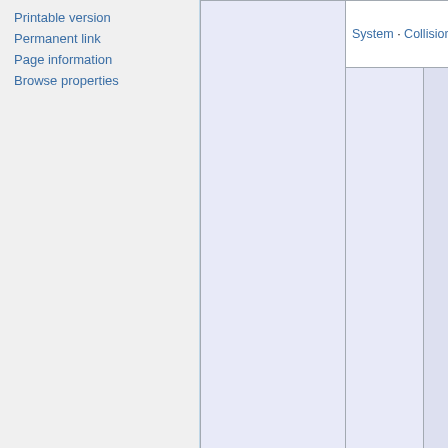Printable version
Permanent link
Page information
Browse properties
| Phenomena | Tokyo | Content |
| --- | --- | --- |
| Phenomena | System · Collision of worlds · Shadows |  |
|  | The Walls · Ada... Bunkyō (Togo A... (Fujimi Academ... Edogawa (Kas... Itabashi · Katsu... (Ojibo Academy)... (Toyosu Marine... Meguro · Minat... (Aoyama Ceme... Roppongi Hills... Roppongi Acad... Tokyo Sanzoku... Nakano (Nakano Perfo... · Nerima (Penit... Ōta (Kamata Te... Setagaya · Shib... (Daikanyama A... Yoyogi Academ... Shinjuku (Chuc... Shinjuku Acade... Tokyo Santa Sc... | Tokyo |
| Locations |  | Tokyo |